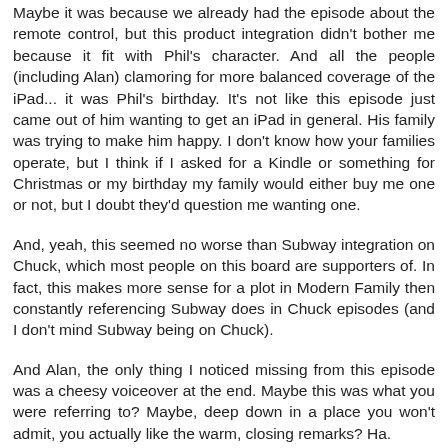Maybe it was because we already had the episode about the remote control, but this product integration didn't bother me because it fit with Phil's character. And all the people (including Alan) clamoring for more balanced coverage of the iPad... it was Phil's birthday. It's not like this episode just came out of him wanting to get an iPad in general. His family was trying to make him happy. I don't know how your families operate, but I think if I asked for a Kindle or something for Christmas or my birthday my family would either buy me one or not, but I doubt they'd question me wanting one.
And, yeah, this seemed no worse than Subway integration on Chuck, which most people on this board are supporters of. In fact, this makes more sense for a plot in Modern Family then constantly referencing Subway does in Chuck episodes (and I don't mind Subway being on Chuck).
And Alan, the only thing I noticed missing from this episode was a cheesy voiceover at the end. Maybe this was what you were referring to? Maybe, deep down in a place you won't admit, you actually like the warm, closing remarks? Ha.